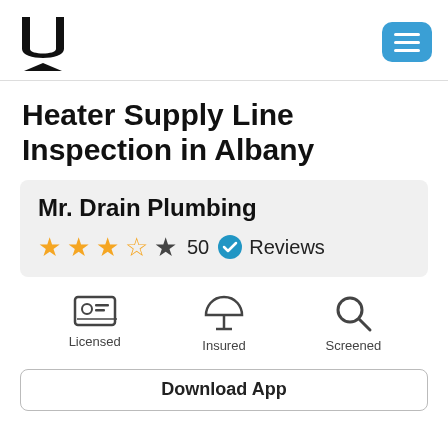U logo and menu button
Heater Supply Line Inspection in Albany
Mr. Drain Plumbing
★★★☆☆ 50 ✔ Reviews
[Figure (infographic): Three badges: Licensed (ID card icon), Insured (umbrella icon), Screened (magnifying glass icon)]
Download App